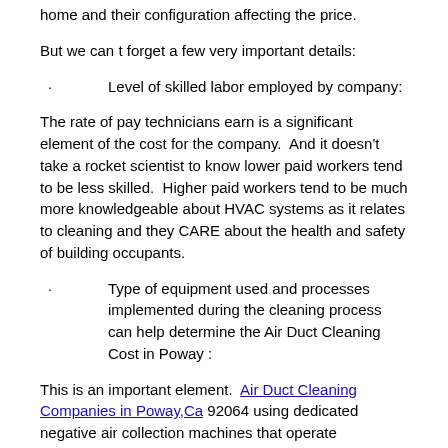home and their configuration affecting the price.
But we can t forget a few very important details:
Level of skilled labor employed by company:
The rate of pay technicians earn is a significant element of the cost for the company.  And it doesn't take a rocket scientist to know lower paid workers tend to be less skilled.  Higher paid workers tend to be much more knowledgeable about HVAC systems as it relates to cleaning and they CARE about the health and safety of building occupants.
Type of equipment used and processes implemented during the cleaning process can help determine the Air Duct Cleaning Cost in Poway :
This is an important element.  Air Duct Cleaning Companies in Poway,Ca 92064 using dedicated negative air collection machines that operate continuously during the cleaning process in tandem with mechanical agitations opposed to a vacuum source that is not 'dedicated' and/or does not